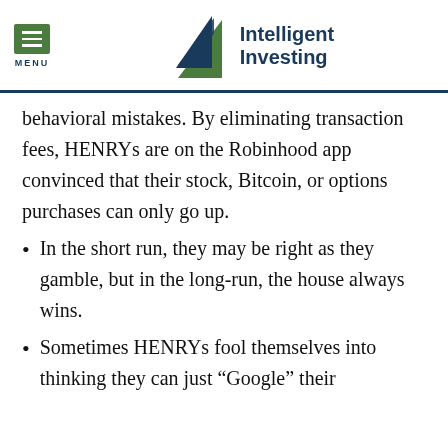MENU | Intelligent Investing
behavioral mistakes. By eliminating transaction fees, HENRYs are on the Robinhood app convinced that their stock, Bitcoin, or options purchases can only go up.
In the short run, they may be right as they gamble, but in the long-run, the house always wins.
Sometimes HENRYs fool themselves into thinking they can just “Google” their